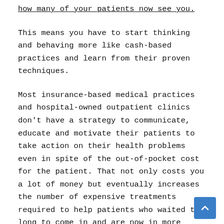how many of your patients now see you.
This means you have to start thinking and behaving more like cash-based practices and learn from their proven techniques.
Most insurance-based medical practices and hospital-owned outpatient clinics don't have a strategy to communicate, educate and motivate their patients to take action on their health problems even in spite of the out-of-pocket cost for the patient. That not only costs you a lot of money but eventually increases the number of expensive treatments  required to help patients who waited too long to come in and are now in more serious trouble than they should have been.